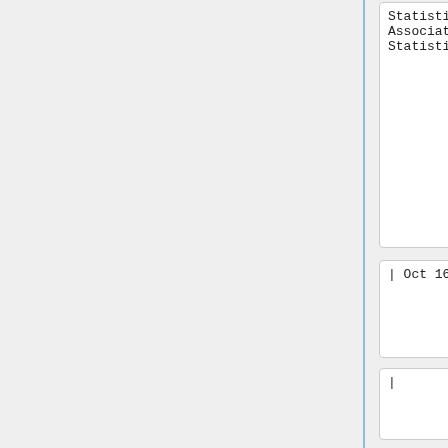Statistics (Assistant or Associate Professor of Statistics) -->
Statistics (Assistant or Associate Professor of Statistics) -->
| Oct 16 <!--2017-->
| Oct 16 <!--2017-->
|
|
|- valign=top
| [https://www.mathjobs.org/jobs/jobs/11428 Misericordia U (s)]*
| <!-- Statistics and Mathematics (Assistant Professor - Mathematics) -->